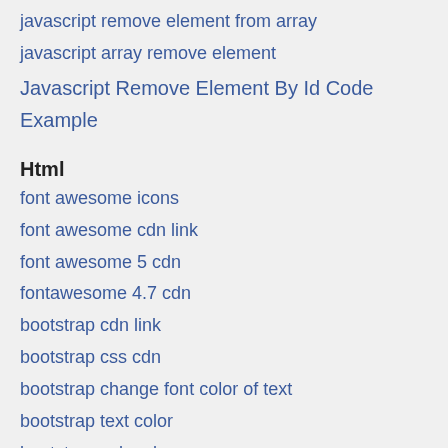javascript remove element from array
javascript array remove element
Javascript Remove Element By Id Code Example
Html
font awesome icons
font awesome cdn link
font awesome 5 cdn
fontawesome 4.7 cdn
bootstrap cdn link
bootstrap css cdn
bootstrap change font color of text
bootstrap text color
bootstrap color class